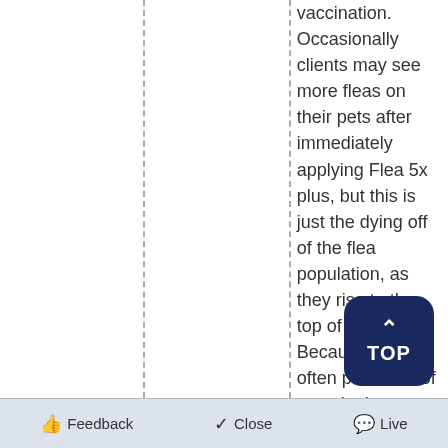vaccination. Occasionally clients may see more fleas on their pets after immediately applying Flea 5x plus, but this is just the dying off of the flea population, as they rise to the top of the coat. Because of the often presence of eggs in the environment before the application of this product, it may take a few months to kill the total population of fleas in the home, which is why we suggest treating the home as well.
Feedback   Close   Live